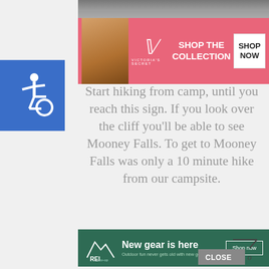[Figure (photo): Top partial photo of outdoor/nature scene, grey tones]
[Figure (infographic): Victoria's Secret advertisement banner: pink background with model, VS logo, 'SHOP THE COLLECTION', 'SHOP NOW' button]
[Figure (infographic): Blue accessibility wheelchair icon badge on left side]
Start hiking from camp, until you reach this sign. If you look over the cliff you'll be able to see Mooney Falls. To get to Mooney Falls was only a 10 minute hike from our campsite.
[Figure (infographic): REI Co-op advertisement banner: dark green background, mountain logo, 'New gear is here', 'Outdoor fun never gets old with new gear.', 'Shop now' button]
[Figure (infographic): Close button (grey rectangle with CLOSE text) and scroll-to-top arrow icon in bottom right]